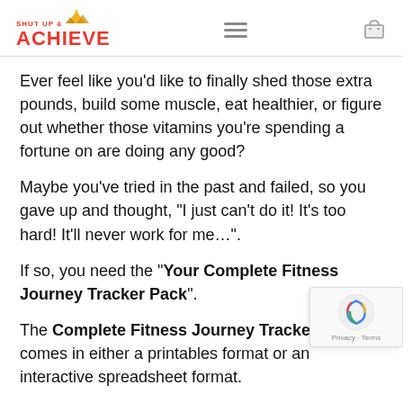SHUT UP & ACHIEVE
Ever feel like you’d like to finally shed those extra pounds, build some muscle, eat healthier, or figure out whether those vitamins you’re spending a fortune on are doing any good?
Maybe you’ve tried in the past and failed, so you gave up and thought, “I just can’t do it! It’s too hard! It’ll never work for me…”.
If so, you need the “Your Complete Fitness Journey Tracker Pack”.
The Complete Fitness Journey Tracker Pack comes in either a printables format or an interactive spreadsheet format.